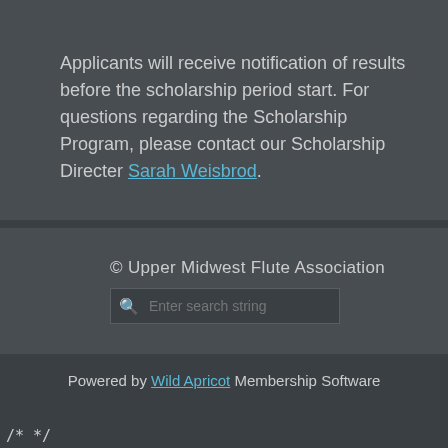Applicants will receive notification of results before the scholarship period start. For questions regarding the Scholarship Program, please contact our Scholarship Directer Sarah Weisbrod.
© Upper Midwest Flute Association
Powered by Wild Apricot Membership Software
/* */